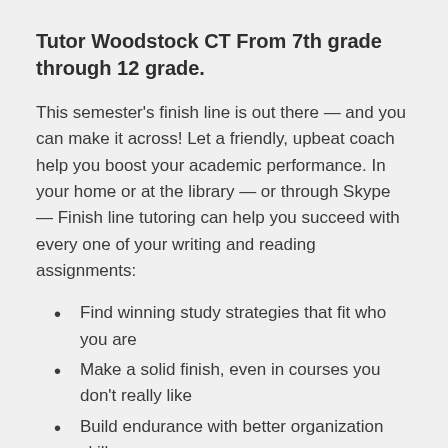Tutor Woodstock CT From 7th grade through 12 grade.
This semester's finish line is out there — and you can make it across! Let a friendly, upbeat coach help you boost your academic performance. In your home or at the library — or through Skype — Finish line tutoring can help you succeed with every one of your writing and reading assignments:
Find winning study strategies that fit who you are
Make a solid finish, even in courses you don't really like
Build endurance with better organization skills